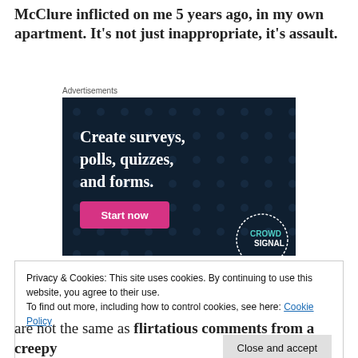McClure inflicted on me 5 years ago, in my own apartment. It’s not just inappropriate, it’s assault.
Advertisements
[Figure (screenshot): Advertisement banner with dark navy background showing text 'Create surveys, polls, quizzes, and forms.' with a pink 'Start now' button and CrowdSignal logo in the bottom right corner.]
Privacy & Cookies: This site uses cookies. By continuing to use this website, you agree to their use.
To find out more, including how to control cookies, see here: Cookie Policy
are not the same as flirtatious comments from a creepy